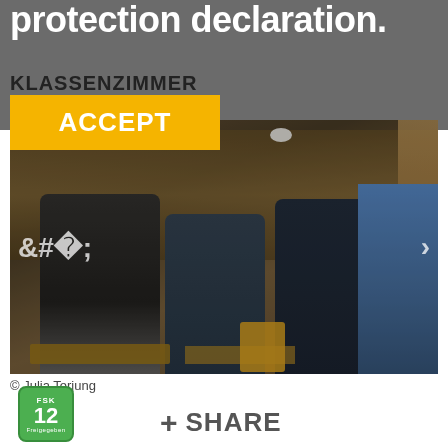protection declaration.
KLASSENZIMMER
ACCEPT
[Figure (photo): Film still showing students sitting in a classroom. Three young people are prominent in the foreground: a young man in dark clothing on the left, a young woman in a blue turtleneck in the center, and another young man in a dark jacket on the right. Many students are visible in the background. A woman in a blue polka-dot dress stands at the far right.]
© Julia Terjung
FSK 12
+ SHARE